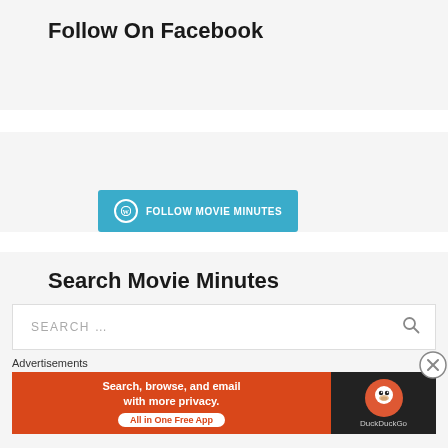Follow On Facebook
[Figure (screenshot): WordPress Follow button: 'Follow MOVIE MINUTES' in teal/blue]
Search Movie Minutes
[Figure (screenshot): Search box with placeholder SEARCH ...]
Advertisements
[Figure (screenshot): DuckDuckGo advertisement banner: 'Search, browse, and email with more privacy. All in One Free App']